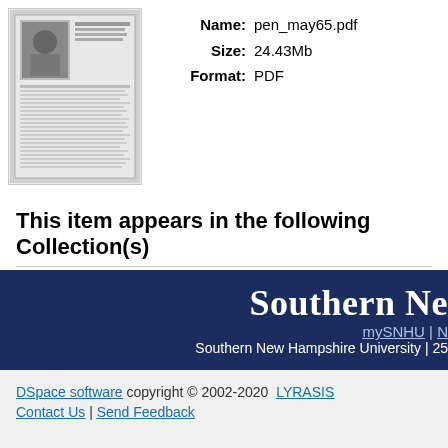[Figure (other): Thumbnail image of a document page showing a newspaper or newsletter with a person photo on it]
Name: pen_may65.pdf
Size: 24.43Mb
Format: PDF
This item appears in the following Collection(s)
The pen
Show simple item record
Southern Ne
mySNHU | N
Southern New Hampshire University | 25
DSpace software copyright © 2002-2020  LYRASIS
Contact Us | Send Feedback